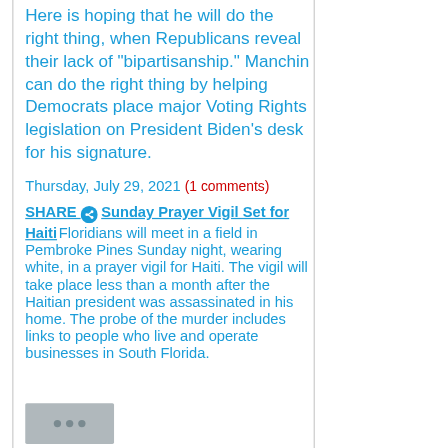Here is hoping that he will do the right thing, when Republicans reveal their lack of "bipartisanship." Manchin can do the right thing by helping Democrats place major Voting Rights legislation on President Biden's desk for his signature.
Thursday, July 29, 2021 (1 comments)
SHARE Sunday Prayer Vigil Set for Haiti Floridians will meet in a field in Pembroke Pines Sunday night, wearing white, in a prayer vigil for Haiti. The vigil will take place less than a month after the Haitian president was assassinated in his home. The probe of the murder includes links to people who live and operate businesses in South Florida.
[Figure (photo): Thumbnail image placeholder with three dots, gray background]